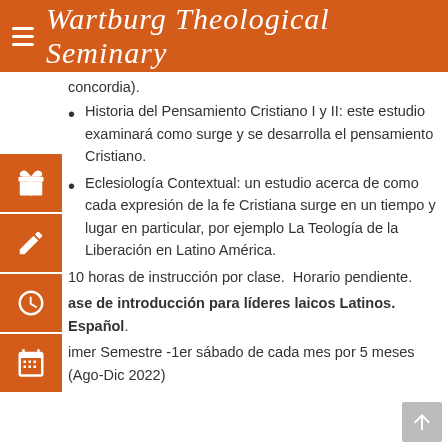Wartburg Theological Seminary
concordia).
Historia del Pensamiento Cristiano I y II: este estudio examinará como surge y se desarrolla el pensamiento Cristiano.
Eclesiología Contextual: un estudio acerca de como cada expresión de la fe Cristiana surge en un tiempo y lugar en particular, por ejemplo La Teología de la Liberación en Latino América.
10 horas de instrucción por clase.  Horario pendiente.
ase de introducción para líderes laicos Latinos. Español.
imer Semestre -1er sábado de cada mes por 5 meses (Ago-Dic 2022)